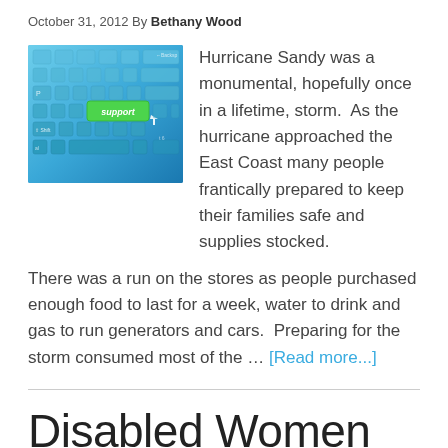October 31, 2012 By Bethany Wood
[Figure (photo): Close-up photo of a blue keyboard with a green 'support' key highlighted, with a cursor arrow on it.]
Hurricane Sandy was a monumental, hopefully once in a lifetime, storm.  As the hurricane approached the East Coast many people frantically prepared to keep their families safe and supplies stocked.
There was a run on the stores as people purchased enough food to last for a week, water to drink and gas to run generators and cars.  Preparing for the storm consumed most of the … [Read more...]
Disabled Women